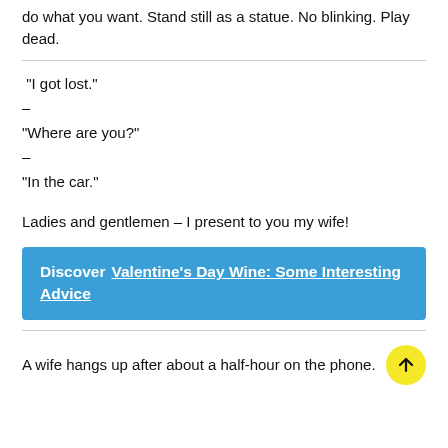do what you want. Stand still as a statue. No blinking. Play dead.
“I got lost.”
–
“Where are you?”
–
“In the car.”
Ladies and gentlemen – I present to you my wife!
Discover  Valentine's Day Wine: Some Interesting Advice
A wife hangs up after about a half-hour on the phone.